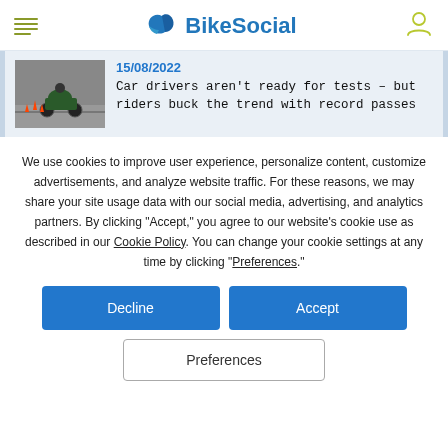BikeSocial
[Figure (screenshot): Article card with motorcycle photo, date 15/08/2022, and headline about car drivers and riders]
We use cookies to improve user experience, personalize content, customize advertisements, and analyze website traffic. For these reasons, we may share your site usage data with our social media, advertising, and analytics partners. By clicking "Accept," you agree to our website's cookie use as described in our Cookie Policy. You can change your cookie settings at any time by clicking “Preferences.”
Decline
Accept
Preferences